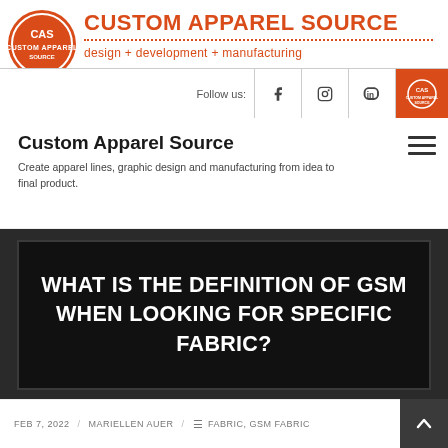CUSTOM APPAREL SOURCE — design + development + manufacturing
[Figure (logo): CAS orange circle logo with white CAS letters]
Follow us:
Custom Apparel Source
Create apparel lines, graphic design and manufacturing from idea to final product.
WHAT IS THE DEFINITION OF GSM WHEN LOOKING FOR SPECIFIC FABRIC?
FEB 7, 2022 / MARIELLEN AUER / FABRIC, GSM FABRIC